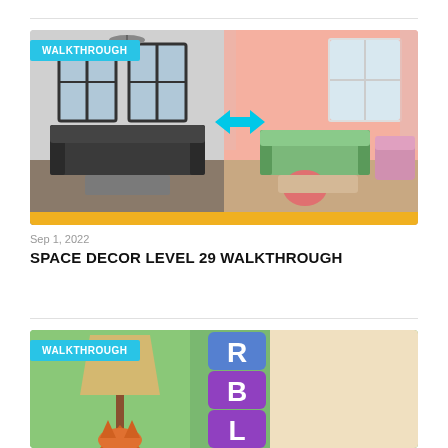[Figure (screenshot): Room decoration game screenshot showing a dark living room on the left and a bright pink renovated living room on the right with a cyan arrow pointing right. A 'WALKTHROUGH' badge is shown in the top-left corner.]
Sep 1, 2022
SPACE DECOR LEVEL 29 WALKTHROUGH
[Figure (screenshot): Mobile game screenshot showing a word puzzle game with purple letter tiles spelling R, B, L vertically, a lamp, a cat, and a circular mirror. A 'WALKTHROUGH' badge in the top-left corner.]